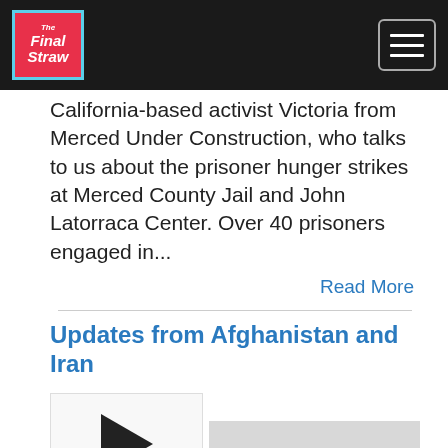The Final Straw [logo] | hamburger menu
California-based activist Victoria from Merced Under Construction, who talks to us about the prisoner hunger strikes at Merced County Jail and John Latorraca Center. Over 40 prisoners engaged in...
Read More
Updates from Afghanistan and Iran
[Figure (other): Audio player with play button and progress bar, showing 00:00:00 timestamp and control icons]